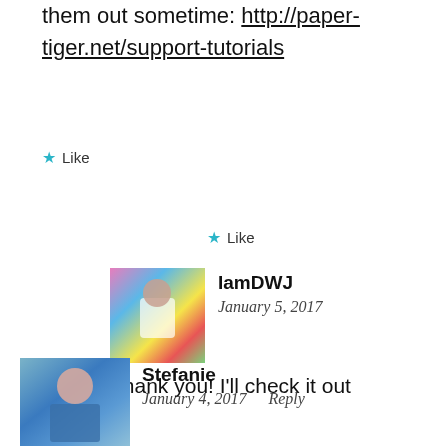them out sometime: http://paper-tiger.net/support-tutorials
★ Like
IamDWJ
January 5, 2017
Thank you! I'll check it out
★ Like
Stefanie
January 4, 2017    Reply